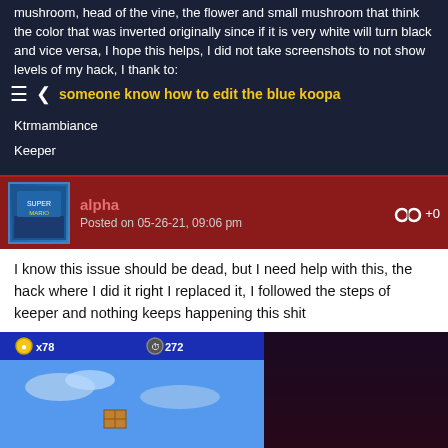mushroom, head of the vine, the flower and small mushroom that think the color that was inverted originally since if it is very white will turn black and vice versa, I hope this helps, I did not take screenshots to not show levels of my hack, I thank to:
someone know how to edit the blue koopa
Ktrmambiance
Keeper
alpha
Posted on 05-26-21, 09:06 pm
I know this issue should be dead, but I need help with this, the hack where I did it right I replaced it, I followed the steps of keeper and nothing keeps happening this shit
[Figure (screenshot): Screenshot of a New Super Mario Bros. DS level showing Mario in a colorful platformer stage with coins display showing x78 and timer showing 272, featuring brown brick platforms, yellow hills, flowers, and a castle tower in the background.]